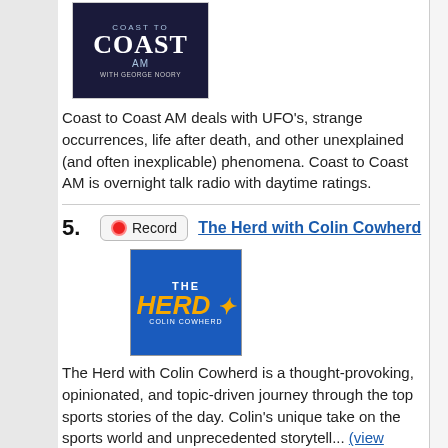[Figure (photo): Coast to Coast AM logo/thumbnail with a man in a suit, dark blue background with show title text]
Coast to Coast AM deals with UFO's, strange occurrences, life after death, and other unexplained (and often inexplicable) phenomena. Coast to Coast AM is overnight talk radio with daytime ratings.
5. Record  The Herd with Colin Cowherd
[Figure (photo): The Herd with Colin Cowherd logo — blue background with gold bird and 'THE HERD COLIN COWHERD' text]
The Herd with Colin Cowherd is a thought-provoking, opinionated, and topic-driven journey through the top sports stories of the day. Colin's unique take on the sports world and unprecedented storytell... (view more)
6. Record  The Dan Patrick Show
[Figure (photo): The Dan Patrick Show thumbnail — partial image of a man]